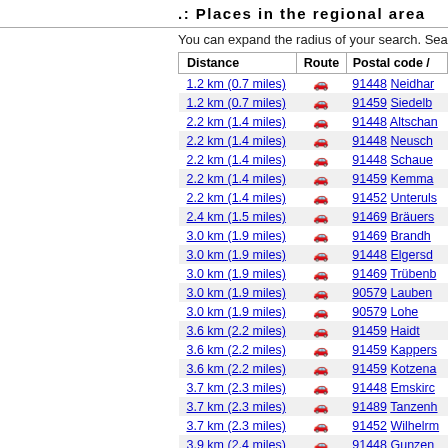.: Places in the regional area
You can expand the radius of your search. Sea
| Distance | Route | Postal code / |
| --- | --- | --- |
| 1.2 km (0.7 miles) | car | 91448 Neidhar |
| 1.2 km (0.7 miles) | car | 91459 Siedelb |
| 2.2 km (1.4 miles) | car | 91448 Altschan |
| 2.2 km (1.4 miles) | car | 91448 Neusch |
| 2.2 km (1.4 miles) | car | 91448 Schaue |
| 2.2 km (1.4 miles) | car | 91459 Kemma |
| 2.2 km (1.4 miles) | car | 91452 Unteruls |
| 2.4 km (1.5 miles) | car | 91469 Bräuers |
| 3.0 km (1.9 miles) | car | 91469 Brandh |
| 3.0 km (1.9 miles) | car | 91448 Elgersd |
| 3.0 km (1.9 miles) | car | 91469 Trübenb |
| 3.0 km (1.9 miles) | car | 90579 Lauben |
| 3.0 km (1.9 miles) | car | 90579 Lohe |
| 3.6 km (2.2 miles) | car | 91459 Haidt |
| 3.6 km (2.2 miles) | car | 91459 Kappers |
| 3.6 km (2.2 miles) | car | 91459 Kotzena |
| 3.7 km (2.3 miles) | car | 91448 Emskirc |
| 3.7 km (2.3 miles) | car | 91489 Tanzenh |
| 3.7 km (2.3 miles) | car | 91452 Wilhelrm |
| 3.9 km (2.4 miles) | car | 91448 Gunzen |
| 3.9 km (2.4 miles) | car | 91448 Flugsho |
| 3.9 km (2.4 miles) | car | 91448 Riedeln |
| 4.1 km (2.5 miles) | car | 91448 Buchkli |
| 4.1 km (2.5 miles) | car | 91469 Hagen |